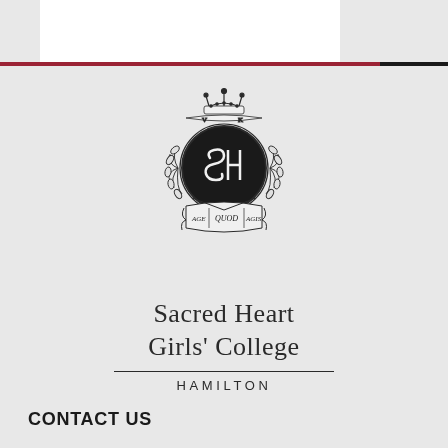[Figure (logo): Sacred Heart Girls' College Hamilton crest/logo with shield, laurel wreath, crown, monogram SH, and motto banner reading AGE QUOD AGIS]
Sacred Heart Girls' College
HAMILTON
CONTACT US